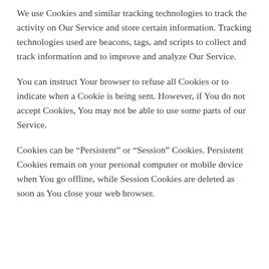We use Cookies and similar tracking technologies to track the activity on Our Service and store certain information. Tracking technologies used are beacons, tags, and scripts to collect and track information and to improve and analyze Our Service.
You can instruct Your browser to refuse all Cookies or to indicate when a Cookie is being sent. However, if You do not accept Cookies, You may not be able to use some parts of our Service.
Cookies can be “Persistent” or “Session” Cookies. Persistent Cookies remain on your personal computer or mobile device when You go offline, while Session Cookies are deleted as soon as You close your web browser.